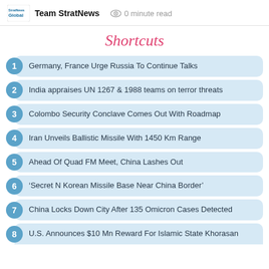Team StratNews  0 minute read
Shortcuts
Germany, France Urge Russia To Continue Talks
India appraises UN 1267 & 1988 teams on terror threats
Colombo Security Conclave Comes Out With Roadmap
Iran Unveils Ballistic Missile With 1450 Km Range
Ahead Of Quad FM Meet, China Lashes Out
‘Secret N Korean Missile Base Near China Border’
China Locks Down City After 135 Omicron Cases Detected
U.S. Announces $10 Mn Reward For Islamic State Khorasan